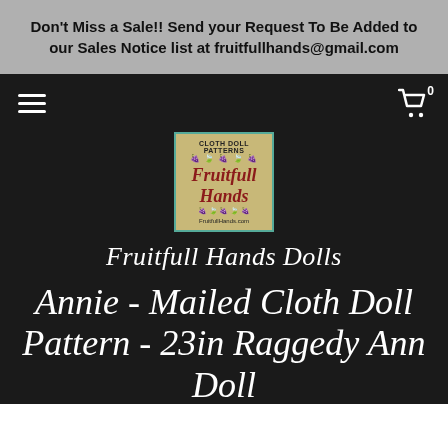Don't Miss a Sale!! Send your Request To Be Added to our Sales Notice list at fruitfullhands@gmail.com
[Figure (logo): Fruitfull Hands Cloth Doll Patterns logo with decorative vine border and FruitfullHands.com URL]
Fruitfull Hands Dolls
Annie - Mailed Cloth Doll Pattern - 23in Raggedy Ann Doll